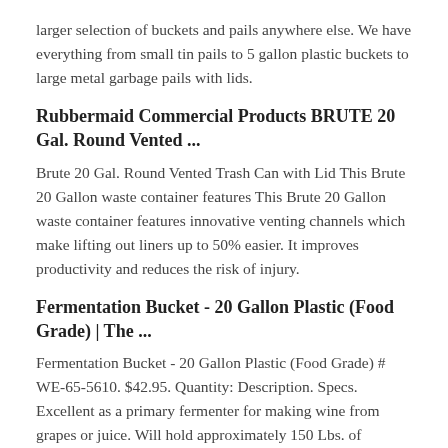larger selection of buckets and pails anywhere else. We have everything from small tin pails to 5 gallon plastic buckets to large metal garbage pails with lids.
Rubbermaid Commercial Products BRUTE 20 Gal. Round Vented ...
Brute 20 Gal. Round Vented Trash Can with Lid This Brute 20 Gallon waste container features This Brute 20 Gallon waste container features innovative venting channels which make lifting out liners up to 50% easier. It improves productivity and reduces the risk of injury.
Fermentation Bucket - 20 Gallon Plastic (Food Grade) | The ...
Fermentation Bucket - 20 Gallon Plastic (Food Grade) # WE-65-5610. $42.95. Quantity: Description. Specs. Excellent as a primary fermenter for making wine from grapes or juice. Will hold approximately 150 Lbs. of